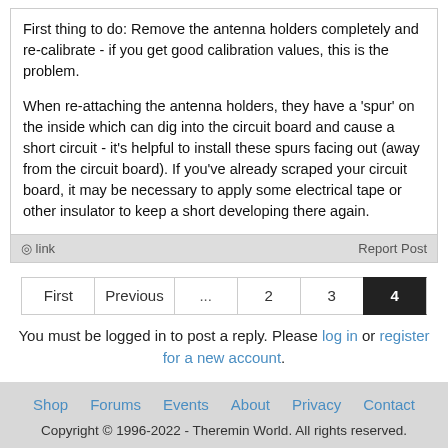First thing to do: Remove the antenna holders completely and re-calibrate - if you get good calibration values, this is the problem.

When re-attaching the antenna holders, they have a 'spur' on the inside which can dig into the circuit board and cause a short circuit - it's helpful to install these spurs facing out (away from the circuit board). If you've already scraped your circuit board, it may be necessary to apply some electrical tape or other insulator to keep a short developing there again.
% link    Report Post
First  Previous  ...  2  3  4
You must be logged in to post a reply. Please log in or register for a new account.
Shop  Forums  Events  About  Privacy  Contact
Copyright © 1996-2022 - Theremin World. All rights reserved.